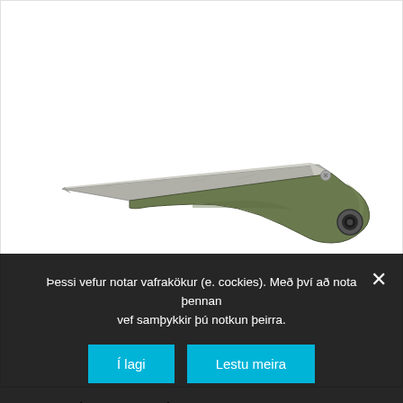[Figure (photo): A fixed-blade knife with a stone-washed grey blade and an olive green G10 handle with a lanyard hole, shown on a white background.]
SPINE HNÍFUR MEÐ SLÉTTRI EGG
Þessi vefur notar vafrakökur (e. cockies). Með því að nota þennan vef samþykkir þú notkun þeirra.
Í lagi
Lestu meira